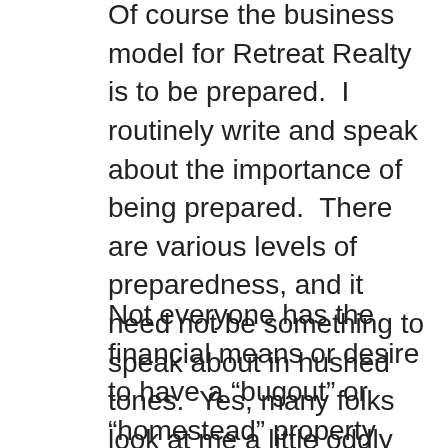Of course the business model for Retreat Realty is to be prepared.  I routinely write and speak about the importance of being prepared.  There are various levels of preparedness, and it need not be something to speak about in hushed tones.  Yes, many folks look at me a little oddly when I describe my real estate work as having to do with “bugout” or “prepper properties”, but invariably, they all recognize the need to be prepared for emergencies, yet most don’t take the first step.  That could be a painful mistake.
Not everyone has the financial means or desire to have a “bugout” or “homestead” property here in the mountains, but everyone can do something to prepare their family for sudden disruptions to our comfortable lives.